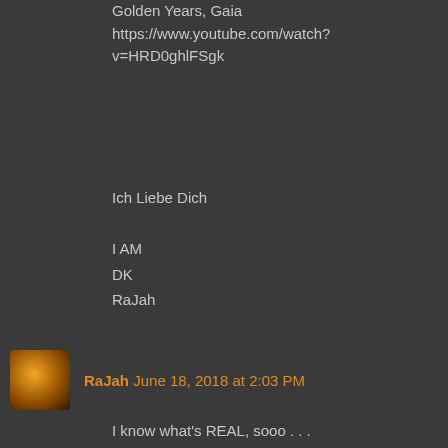Golden Years, Gaia
https://www.youtube.com/watch?v=HRD0ghlFSgk
Ich Liebe Dich

I AM
DK
RaJah
RaJah June 18, 2018 at 2:03 PM
I know what's REAL, sooo . . .
https://www.youtube.com/watch?v=VQUggbJ8RXI
I AM
DK